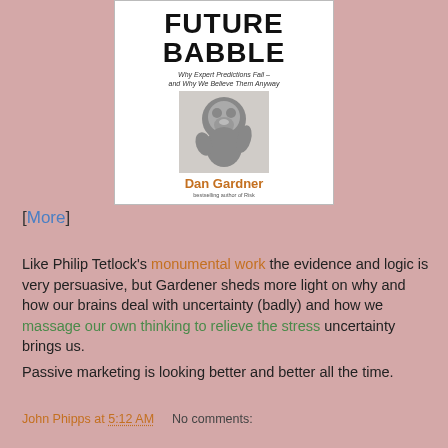[Figure (photo): Book cover of 'Future Babble: Why Expert Predictions Fail - and Why We Believe Them Anyway' by Dan Gardner, featuring bold title text and a photo of a chimpanzee on the cover]
[More]
Like Philip Tetlock's monumental work the evidence and logic is very persuasive, but Gardener sheds more light on why and how our brains deal with uncertainty (badly) and how we massage our own thinking to relieve the stress uncertainty brings us.
Passive marketing is looking better and better all the time.
John Phipps at 5:12 AM    No comments: